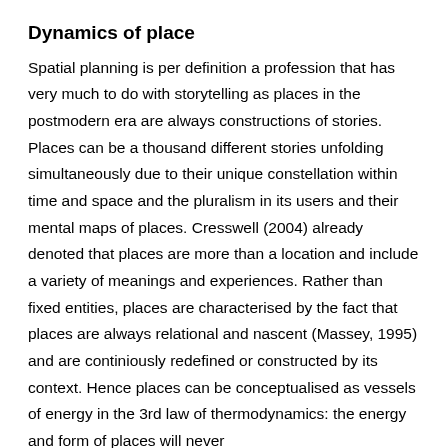Dynamics of place
Spatial planning is per definition a profession that has very much to do with storytelling as places in the postmodern era are always constructions of stories. Places can be a thousand different stories unfolding simultaneously due to their unique constellation within time and space and the pluralism in its users and their mental maps of places. Cresswell (2004) already denoted that places are more than a location and include a variety of meanings and experiences. Rather than fixed entities, places are characterised by the fact that places are always relational and nascent (Massey, 1995) and are continiously redefined or constructed by its context. Hence places can be conceptualised as vessels of energy in the 3rd law of thermodynamics: the energy and form of places will never